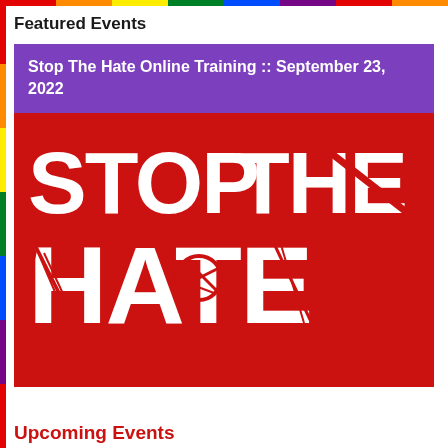Featured Events
Stop The Hate Online Training :: September 23, 2022
[Figure (illustration): Red background graphic with large white bold broken/cracked letters reading STOP THE HATE, styled as if the letters are damaged or shattered.]
Upcoming Events